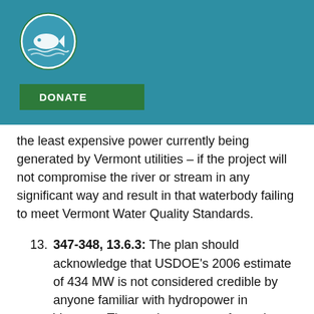[Figure (logo): Circular green and teal logo with a white fish illustration]
DONATE
the least expensive power currently being generated by Vermont utilities – if the project will not compromise the river or stream in any significant way and result in that waterbody failing to meet Vermont Water Quality Standards.
13. 347-348, 13.6.3: The plan should acknowledge that USDOE's 2006 estimate of 434 MW is not considered credible by anyone familiar with hydropower in Vermont. That study was part of a project to develop a national estimate of